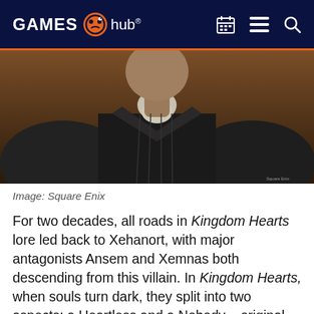GAMES hub
[Figure (photo): Close-up screenshot of Xehanort character from Kingdom Hearts, showing the villain from chest up wearing a dark coat with white beard, against a warm brown background. Image credit: Square Enix]
Image: Square Enix
For two decades, all roads in Kingdom Hearts lore led back to Xehanort, with major antagonists Ansem and Xemnas both descending from this villain. In Kingdom Hearts, when souls turn dark, they split into two aspects: a Heartless and a Nobody – original villain Ansem was Xehanort's Heartless, while Kingdom Hearts 2 villain Xemnas was Xehanort's Nobody.